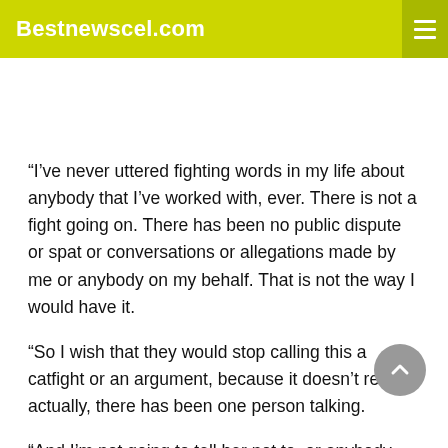Bestnewscel.com
“I’ve never uttered fighting words in my life about anybody that I’ve worked with, ever. There is not a fight going on. There has been no public dispute or spat or conversations or allegations made by me or anybody on my behalf. That is not the way I would have it.
“So I wish that they would stop calling this a catfight or an argument, because it doesn’t reflect, actually, there has been one person talking.
“And I’m not going to tell her not to, or anybody. So that’s been kind of painful for me also.”